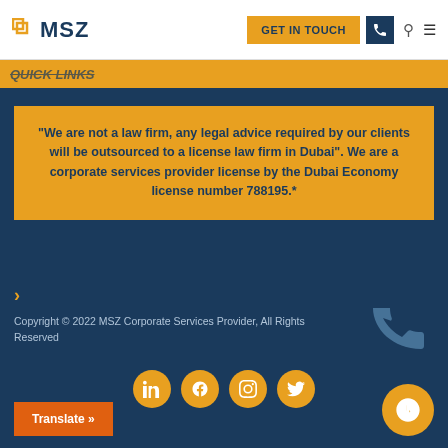MSZ | GET IN TOUCH
QUICK LINKS
"We are not a law firm, any legal advice required by our clients will be outsourced to a license law firm in Dubai". We are a corporate services provider license by the Dubai Economy license number 788195.*
Copyright © 2022 MSZ Corporate Services Provider, All Rights Reserved
[Figure (other): Social media icons: LinkedIn, Facebook, Instagram, Twitter circles in gold/yellow]
Translate »